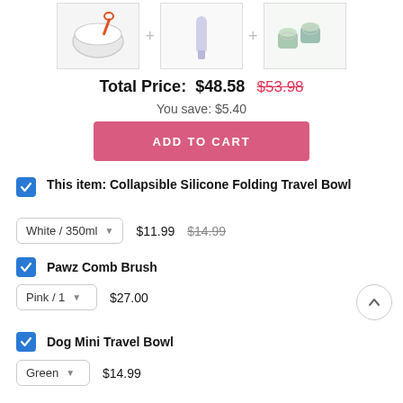[Figure (photo): Three product images (collapsible bowl, comb brush, dog bowl) separated by plus signs]
Total Price:  $48.58  $53.98
You save: $5.40
ADD TO CART
This item: Collapsible Silicone Folding Travel Bowl
White / 350ml   $11.99   $14.99
Pawz Comb Brush
Pink / 1   $27.00
Dog Mini Travel Bowl
Green   $14.99